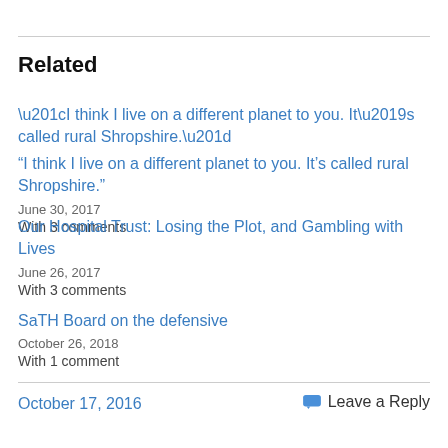Related
“I think I live on a different planet to you. It’s called rural Shropshire.”
June 30, 2017
With 3 comments
Our Hospital Trust: Losing the Plot, and Gambling with Lives
June 26, 2017
With 3 comments
SaTH Board on the defensive
October 26, 2018
With 1 comment
October 17, 2016
Leave a Reply